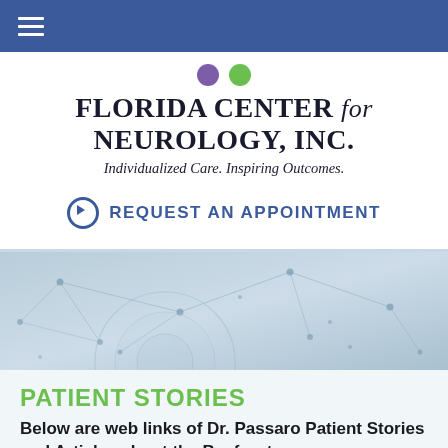Navigation bar with hamburger menu
[Figure (logo): Florida Center for Neurology, Inc. logo with purple and green dots, serif bold title, italic tagline 'Individualized Care. Inspiring Outcomes.']
REQUEST AN APPOINTMENT
[Figure (illustration): Neural network / brain cell background image with light blue tones]
PATIENT STORIES
Below are web links of Dr. Passaro Patient Stories and Articles about the Bayfront